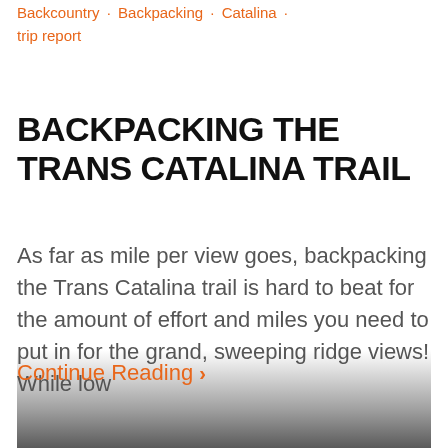Backcountry · Backpacking · Catalina · trip report
BACKPACKING THE TRANS CATALINA TRAIL
As far as mile per view goes, backpacking the Trans Catalina trail is hard to beat for the amount of effort and miles you need to put in for the grand, sweeping ridge views! While low
Continue Reading ›